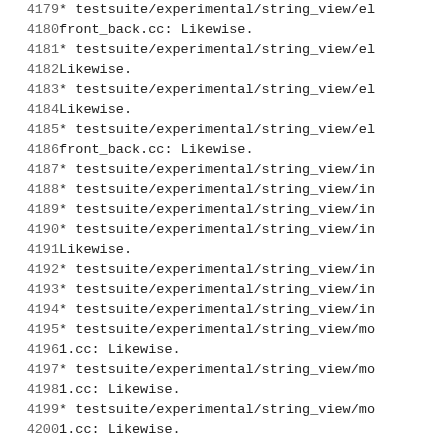4179    * testsuite/experimental/string_view/el
4180      front_back.cc: Likewise.
4181    * testsuite/experimental/string_view/el
4182      Likewise.
4183    * testsuite/experimental/string_view/el
4184      Likewise.
4185    * testsuite/experimental/string_view/el
4186      front_back.cc: Likewise.
4187    * testsuite/experimental/string_view/in
4188    * testsuite/experimental/string_view/in
4189    * testsuite/experimental/string_view/in
4190    * testsuite/experimental/string_view/in
4191      Likewise.
4192    * testsuite/experimental/string_view/in
4193    * testsuite/experimental/string_view/in
4194    * testsuite/experimental/string_view/in
4195    * testsuite/experimental/string_view/mo
4196      1.cc: Likewise.
4197    * testsuite/experimental/string_view/mo
4198      1.cc: Likewise.
4199    * testsuite/experimental/string_view/mo
4200      1.cc: Likewise.